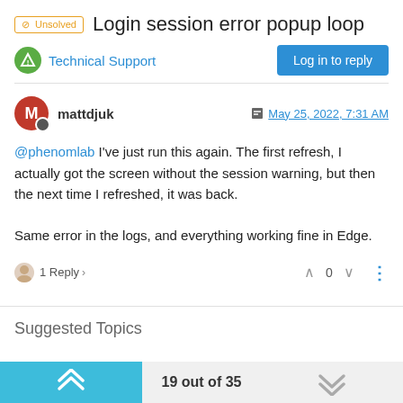Login session error popup loop
Technical Support
mattdjuk — May 25, 2022, 7:31 AM
@phenomlab I've just run this again. The first refresh, I actually got the screen without the session warning, but then the next time I refreshed, it was back.

Same error in the logs, and everything working fine in Edge.
1 Reply > … 0 …
Suggested Topics
19 out of 35